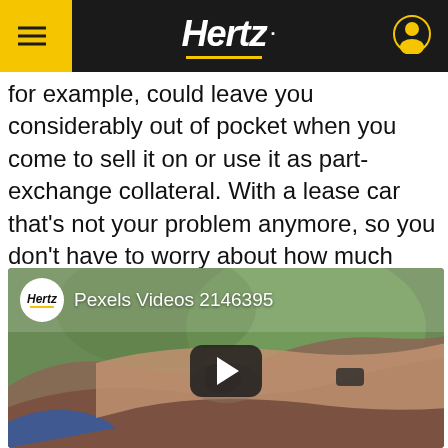Hertz
for example, could leave you considerably out of pocket when you come to sell it on or use it as part-exchange collateral. With a lease car that's not your problem anymore, so you don't have to worry about how much value is being wiped off the car's worth.
[Figure (screenshot): Embedded video player with Hertz logo and title 'Pexels Videos 2146395', showing a person's tattooed arm raised outdoors, with a play button in the center.]